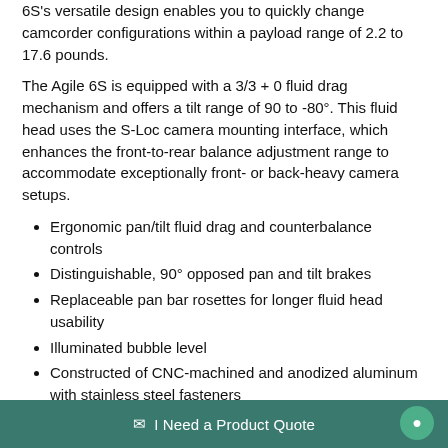6S's versatile design enables you to quickly change camcorder configurations within a payload range of 2.2 to 17.6 pounds.
The Agile 6S is equipped with a 3/3 + 0 fluid drag mechanism and offers a tilt range of 90 to -80°. This fluid head uses the S-Loc camera mounting interface, which enhances the front-to-rear balance adjustment range to accommodate exceptionally front- or back-heavy camera setups.
Ergonomic pan/tilt fluid drag and counterbalance controls
Distinguishable, 90° opposed pan and tilt brakes
Replaceable pan bar rosettes for longer fluid head usability
Illuminated bubble level
Constructed of CNC-machined and anodized aluminum with stainless steel fasteners
Pan bar included
OZEN Soft Case for 75mm Systems
The OZEN Soft Case is a replacement case for 75mm tripod
✉ I Need a Product Quote